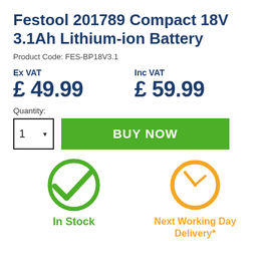Festool 201789 Compact 18V 3.1Ah Lithium-ion Battery
Product Code: FES-BP18V3.1
Ex VAT £ 49.99
Inc VAT £ 59.99
Quantity:
[Figure (infographic): Green circular checkmark icon with 'In Stock' label below in green text]
[Figure (infographic): Orange clock/timer icon with 'Next Working Day Delivery*' label below in orange text]